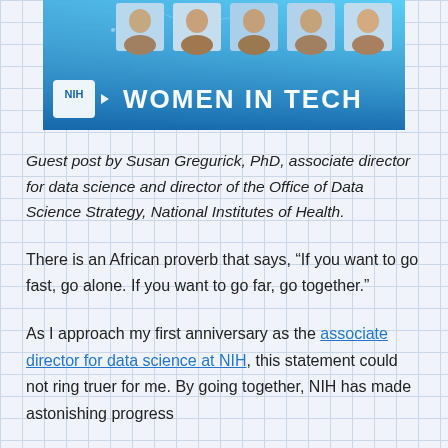[Figure (illustration): NIH Women in Tech banner image showing headshots of several women on a blue background with the NIH logo and text 'WOMEN IN TECH']
Guest post by Susan Gregurick, PhD, associate director for data science and director of the Office of Data Science Strategy, National Institutes of Health.
There is an African proverb that says, “If you want to go fast, go alone. If you want to go far, go together.”
As I approach my first anniversary as the associate director for data science at NIH, this statement could not ring truer for me. By going together, NIH has made astonishing progress